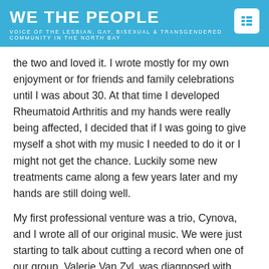WE THE PEOPLE
VOICE OF THE LESBIAN, GAY, BISEXUAL & TRANSGENDERED COMMUNITY IN THE NORTH BAY
the two and loved it. I wrote mostly for my own enjoyment or for friends and family celebrations until I was about 30. At that time I developed Rheumatoid Arthritis and my hands were really being affected, I decided that if I was going to give myself a shot with my music I needed to do it or I might not get the chance. Luckily some new treatments came along a few years later and my hands are still doing well.
My first professional venture was a trio, Cynova, and I wrote all of our original music. We were just starting to talk about cutting a record when one of our group, Valerie Van Zyl, was diagnosed with Ovarian cancer. She died 15 months later just a few weeks before we were to go into the studio. We did go ahead and cut that record “Miracle Alley” with the